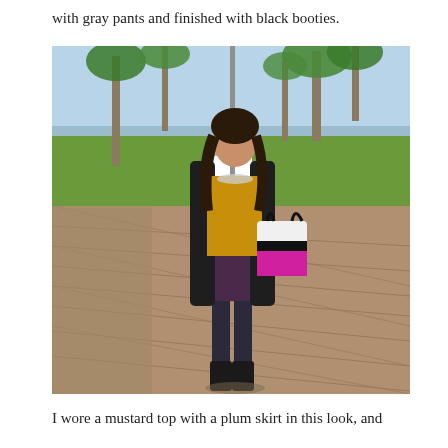with gray pants and finished with black booties.
[Figure (photo): A woman walking outdoors in a park-like setting with palm trees and green grass in the background. She is wearing a mustard/yellow top, a plum/dark purple skirt, black tights, black booties, and a black coat. She carries a colorful bag (white, black, and pink/magenta). The ground is paved with decorative brick in a herringbone pattern.]
I wore a mustard top with a plum skirt in this look, and